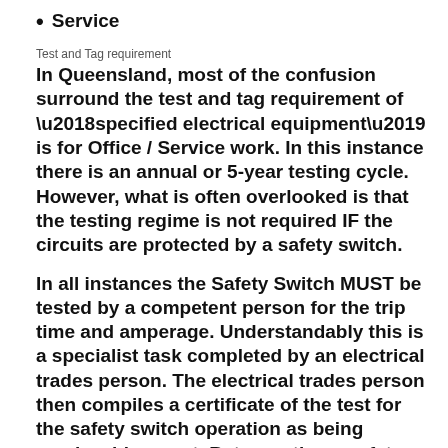Service
Test and Tag requirement
In Queensland, most of the confusion surround the test and tag requirement of ‘specified electrical equipment’ is for Office / Service work. In this instance there is an annual or 5-year testing cycle. However, what is often overlooked is that the testing regime is not required IF the circuits are protected by a safety switch.
In all instances the Safety Switch MUST be tested by a competent person for the trip time and amperage. Understandably this is a specialist task completed by an electrical trades person. The electrical trades person then compiles a certificate of the test for the safety switch operation as being serviceable or not. Between these safety switch tests the user MUST be also testing the activation of